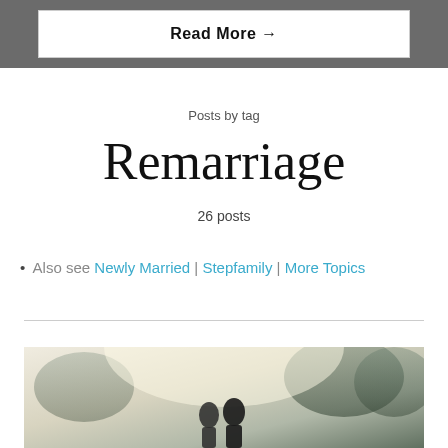Read More →
Posts by tag
Remarriage
26 posts
• Also see Newly Married | Stepfamily | More Topics
[Figure (photo): Outdoor photo of couple, blurred background with trees and light]